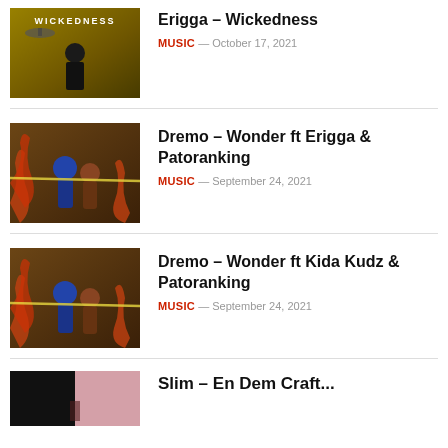[Figure (photo): Album cover with text WICKEDNESS and man in suit on golden-brown background]
Erigga – Wickedness
MUSIC — October 17, 2021
[Figure (illustration): Comic-style illustrated artwork with fantasy characters on dark warm background]
Dremo – Wonder ft Erigga & Patoranking
MUSIC — September 24, 2021
[Figure (illustration): Comic-style illustrated artwork with fantasy characters on dark warm background]
Dremo – Wonder ft Kida Kudz & Patoranking
MUSIC — September 24, 2021
[Figure (photo): Partially visible image with black and pink/red tones, fourth article partially cut off]